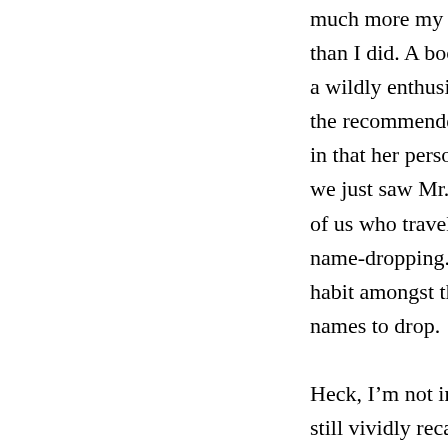much more my godmother enjoyed this book than I did. A book recommendation, particularly a wildly enthusiastic one, reveals as much about the recommender as the book. I was aware going in that her personal sense of anecdote leans, as we just saw Mr. Marx's does, toward what those of us who travel in less rarified circles might call name-dropping. It's not at all an astonishing habit amongst those fortunate enough to have names to drop.
Heck, I'm not immune to the thrill myself. I can still vividly recall the visceral shock of